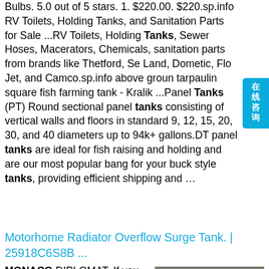Bulbs. 5.0 out of 5 stars. 1. $220.00. $220.sp.info RV Toilets, Holding Tanks, and Sanitation Parts for Sale ...RV Toilets, Holding Tanks, Sewer Hoses, Macerators, Chemicals, sanitation parts from brands like Thetford, Sea Land, Dometic, Flo Jet, and Camco.sp.info above ground tarpaulin square fish farming tank - Kralik ...Panel Tanks (PT) Round sectional panel tanks consisting of vertical walls and floors in standard 9, 12, 15, 20, 30, and 40 diameters up to 94k+ gallons.DT panel tanks are ideal for fish raising and holding and are our most popular bang for your buck style tanks, providing efficient shipping and ...
[Figure (other): Cyan/teal button on the right side with Chinese text: 在线咨询 (online consultation)]
Motorhome Radiator Overflow Surge Tank. | 25918C6S8B ...
MONACO DIPLOMAT. If you have any question whether this is the correct part for your specific RV, p lease contact us at 616.965.9633
[Figure (photo): Photo of dark grey/black rubber tanks or bladders, close-up view showing their round inflated forms with a string visible.]